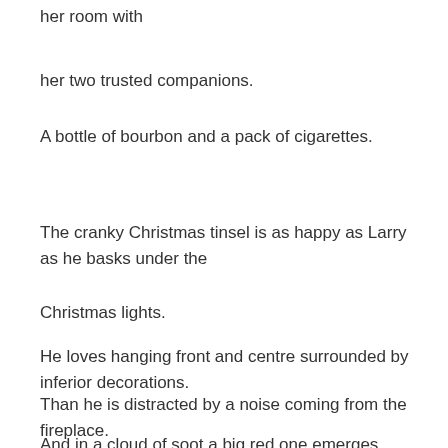her room with
her two trusted companions.
A bottle of bourbon and a pack of cigarettes.
The cranky Christmas tinsel is as happy as Larry as he basks under the
Christmas lights.
He loves hanging front and centre surrounded by inferior decorations.
Than he is distracted by a noise coming from the fireplace.
And in a cloud of soot a big red one emerges